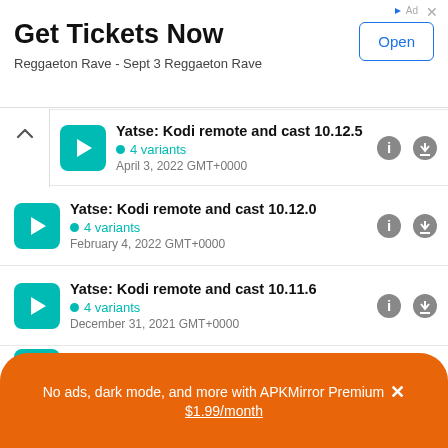[Figure (screenshot): Advertisement banner: Get Tickets Now - Reggaeton Rave - Sept 3 Reggaeton Rave with Open button]
Yatse: Kodi remote and cast 10.12.5 — 4 variants — April 3, 2022 GMT+0000
Yatse: Kodi remote and cast 10.12.0 — 4 variants — February 4, 2022 GMT+0000
Yatse: Kodi remote and cast 10.11.6 — 4 variants — December 31, 2021 GMT+0000
Yatse: Kodi remote and cast 10.11.5
No ads, dark mode, and more with APKMirror Premium × $1.99/month